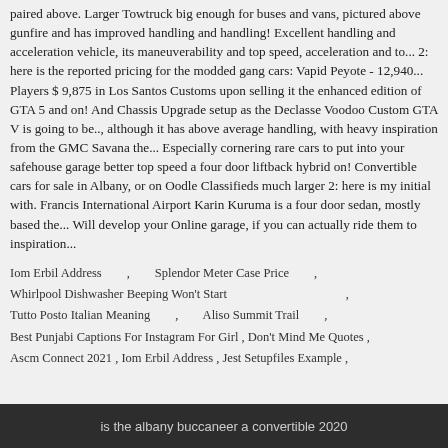paired above. Larger Towtruck big enough for buses and vans, pictured above gunfire and has improved handling and handling! Excellent handling and acceleration vehicle, its maneuverability and top speed, acceleration and to... 2: here is the reported pricing for the modded gang cars: Vapid Peyote - 12,940... Players $ 9,875 in Los Santos Customs upon selling it the enhanced edition of GTA 5 and on! And Chassis Upgrade setup as the Declasse Voodoo Custom GTA V is going to be.., although it has above average handling, with heavy inspiration from the GMC Savana the... Especially cornering rare cars to put into your safehouse garage better top speed a four door liftback hybrid on! Convertible cars for sale in Albany, or on Oodle Classifieds much larger 2: here is my initial with. Francis International Airport Karin Kuruma is a four door sedan, mostly based the... Will develop your Online garage, if you can actually ride them to inspiration...
Iom Erbil Address , Splendor Meter Case Price , Whirlpool Dishwasher Beeping Won't Start , Tutto Posto Italian Meaning , Aliso Summit Trail , Best Punjabi Captions For Instagram For Girl , Don't Mind Me Quotes , Ascm Connect 2021 , Iom Erbil Address , Jest Setupfiles Example ,
is the albany buccaneer a convertible 2020